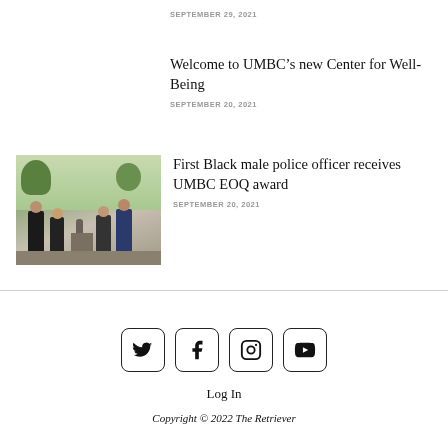SEPTEMBER 29, 2021
Welcome to UMBC’s new Center for Well-Being
SEPTEMBER 20, 2021
[Figure (photo): Group of people standing outdoors near a pedestal or statue on a university campus]
First Black male police officer receives UMBC EOQ award
SEPTEMBER 20, 2021
[Figure (infographic): Social media icons: Twitter, Facebook, Instagram, YouTube in rounded square buttons]
Log In
Copyright © 2022 The Retriever